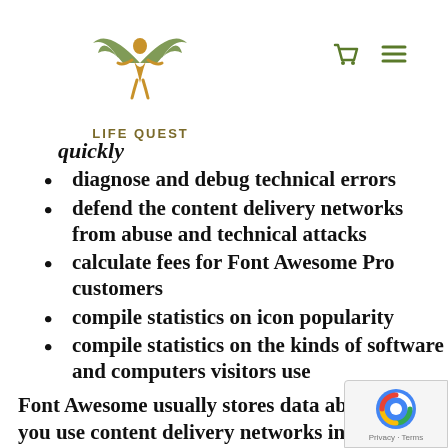[Figure (logo): Life Quest logo with winged figure and olive/gold coloring, text LIFE QUEST below]
quickly (truncated, continuation from previous page)
diagnose and debug technical errors
defend the content delivery networks from abuse and technical attacks
calculate fees for Font Awesome Pro customers
compile statistics on icon popularity
compile statistics on the kinds of software and computers visitors use
Font Awesome usually stores data about how you use content delivery networks in identifiable form for just a few weeks. In special circumstances, like extended investigations about technical attacks